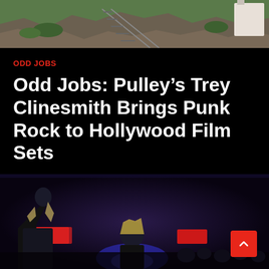[Figure (photo): Aerial or outdoor photo showing rocks, train tracks, and a structure in daylight]
ODD JOBS
Odd Jobs: Pulley’s Trey Clinesmith Brings Punk Rock to Hollywood Film Sets
[Figure (photo): Concert photo of a performer on stage, dark background with red stage lights and blue lighting, crowd visible]